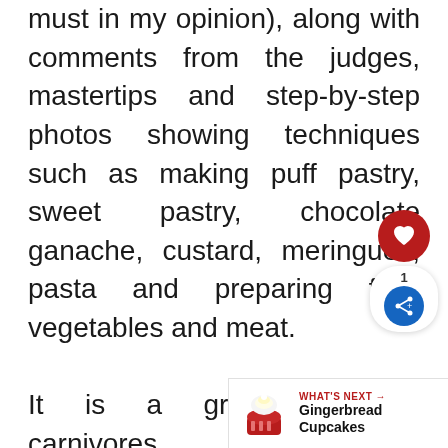must in my opinion), along with comments from the judges, mastertips and step-by-step photos showing techniques such as making puff pastry, sweet pastry, chocolate ganache, custard, meringues, pasta and preparing fish, vegetables and meat.

It is a great gift for carnivores, but I was more than happy with the selection of recipes and step-by-step techniques on offer for vegetarians.
[Figure (infographic): UI overlay with a red heart/favourite button, a share button with count of 1, and a 'What's Next: Gingerbread Cupcakes' promotional bar at bottom right with a cupcake image.]